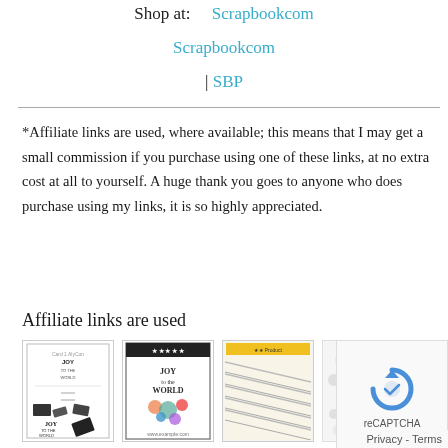Shop at:    Scrapbookcom
Scrapbookcom
| SBP
*Affiliate links are used, where available; this means that I may get a small commission if you purchase using one of these links, at no extra cost at all to yourself. A huge thank you goes to anyone who does purchase using my links, it is so highly appreciated.
Affiliate links are used
[Figure (photo): Thumbnail of a Joy to the World stamp set product]
[Figure (photo): Thumbnail of Joy to the World product packaging]
[Figure (photo): Thumbnail of diagonal stripe product]
[Figure (photo): Thumbnail of polka dot/circle pattern product]